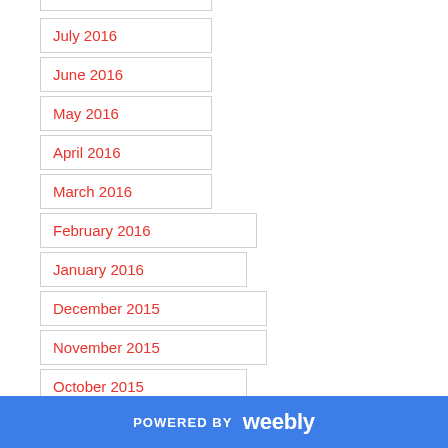July 2016
June 2016
May 2016
April 2016
March 2016
February 2016
January 2016
December 2015
November 2015
October 2015
September 2015
August 2015
July 2015
POWERED BY weebly